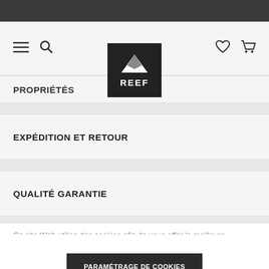REEF
PROPRIÉTÉS
EXPÉDITION ET RETOUR
QUALITÉ GARANTIE
Ce site Web utilise des cookies afin de vous offrir la meilleure expérience possible. Plus d'informations...
PARAMÉTRAGE DE COOKIES
ACCEPTER LES COOKIES